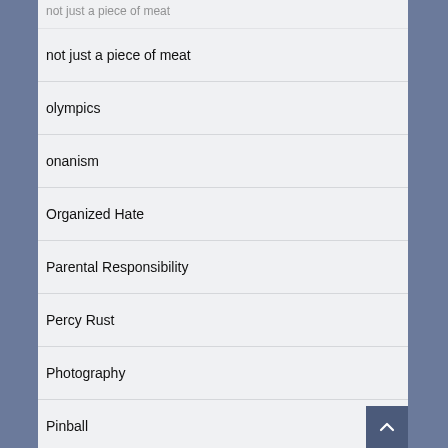not just a piece of meat
olympics
onanism
Organized Hate
Parental Responsibility
Percy Rust
Photography
Pinball